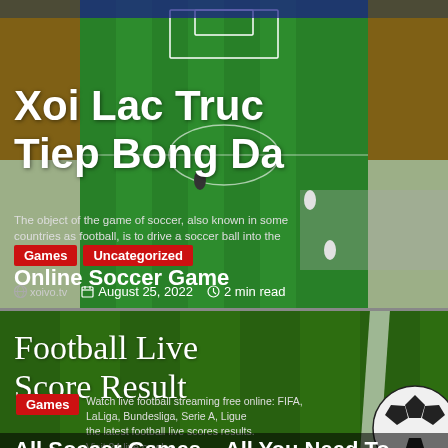[Figure (screenshot): Top card showing a soccer video game screenshot background with stadium, green field, players, with overlay text]
Xoi Lac Truc Tiep Bong Da
The object of the game of soccer, also known in some countries as football, is to drive a soccer ball into the
Games
Uncategorized
Online Soccer Game
xoivo.tv
August 25, 2022  2 min read
[Figure (screenshot): Bottom card showing a football grass field background with white line stripe and soccer ball, with overlay text]
Football Live Score Result
Watch live football streaming free online: FIFA, LaLiga, Bundesliga, Serie A, Ligue the latest football live scores results. Visit 24 live now!
Games
All Soccer Games – All You Need To
deadlyscience.icu